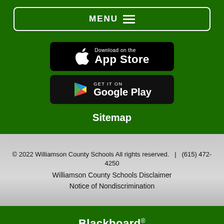MENU
[Figure (screenshot): Download on the App Store button (black, rounded rectangle)]
[Figure (screenshot): GET IT ON Google Play button (black, rounded rectangle)]
Sitemap
© 2022 Williamson County Schools All rights reserved.   |   (615) 472-4250
Williamson County Schools Disclaimer
Notice of Nondiscrimination
Blackboard
Terms of Use • Blackboard Web Community Manager Privacy Policy (Updated) Copyright © 2002-2022 Blackboard, Inc. All rights reserved.